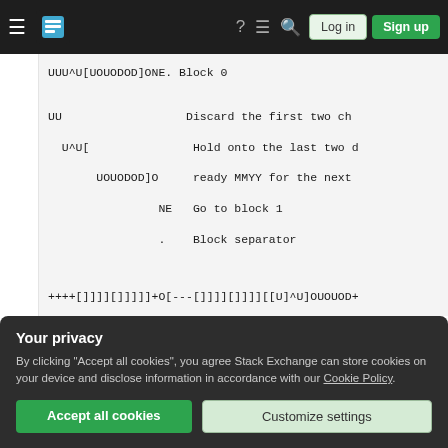Stack Exchange navigation bar with hamburger menu, logo, help, chat, search icons, Log in and Sign up buttons
UUU^U[UOUODOD]ONE. Block 0
UU                  Discard the first two ch
  U^U[               Hold onto the last two d
       UOUODOD]O     ready MMYY for the next
                NE   Go to block 1
                .    Block separator
++++[]]]][]]]]]+O[---[]]]][]]]][[U]^U]OUOUD+
++++[]]]][]]]]]+O
              [---[]]]][]]]][
                             U]^
Your privacy
By clicking “Accept all cookies”, you agree Stack Exchange can store cookies on your device and disclose information in accordance with our Cookie Policy.
+++^^^^U[U-()...;UPUP!.    Block 2 (JAN-SE